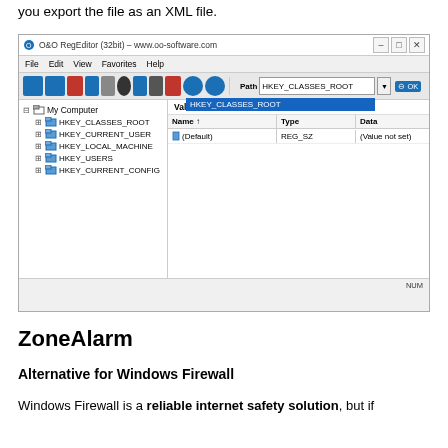you export the file as an XML file.
[Figure (screenshot): O&O RegEditor (32bit) window showing registry tree with HKEY_CLASSES_ROOT selected, values pane showing (Default) REG_SZ (Value not set)]
ZoneAlarm
Alternative for Windows Firewall
Windows Firewall is a reliable internet safety solution, but if